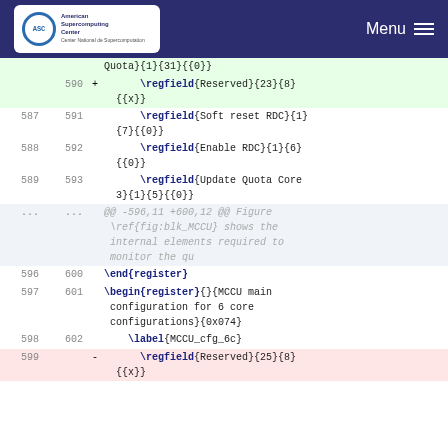ASC - American Supercomputing Center | Menu
Quota}{1}{31}{{0}}
590 + \regfield{Reserved}{23}{8}{{x}}
587 591 \regfield{Soft reset RDC}{1}{7}{{0}}
588 592 \regfield{Enable RDC}{1}{6}{{0}}
589 593 \regfield{Update Quota Core 3}{1}{5}{{0}}
... ... @@ -596,11 +600,12 @@ Figure \ref{fig:blk_MCCU} shows the internal elements required to monitor the qu
596 600 \end{register}
597 601 \begin{register}{}{MCCU main configuration for 6 core configurations}{0x074}
598 602 \label{MCCU_cfg_6c}
599 - \regfield{Reserved}{25}{8}{{x}}